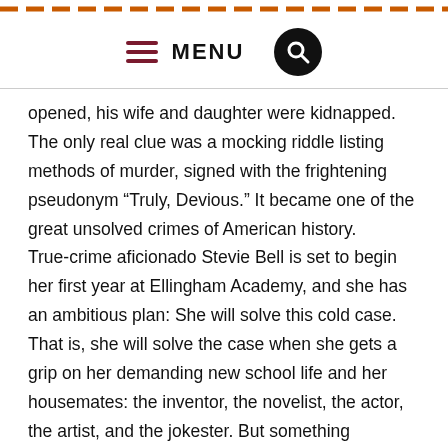MENU
opened, his wife and daughter were kidnapped. The only real clue was a mocking riddle listing methods of murder, signed with the frightening pseudonym “Truly, Devious.” It became one of the great unsolved crimes of American history.
True-crime aficionado Stevie Bell is set to begin her first year at Ellingham Academy, and she has an ambitious plan: She will solve this cold case. That is, she will solve the case when she gets a grip on her demanding new school life and her housemates: the inventor, the novelist, the actor, the artist, and the jokester. But something